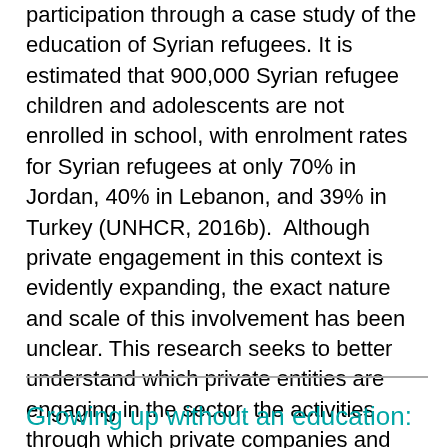participation through a case study of the education of Syrian refugees. It is estimated that 900,000 Syrian refugee children and adolescents are not enrolled in school, with enrolment rates for Syrian refugees at only 70% in Jordan, 40% in Lebanon, and 39% in Turkey (UNHCR, 2016b).  Although private engagement in this context is evidently expanding, the exact nature and scale of this involvement has been unclear. This research seeks to better understand which private entities are engaging in the sector, the activities through which private companies and foundations support education, and the rationales and motivations that drive their involvement.
Growing up without an education: